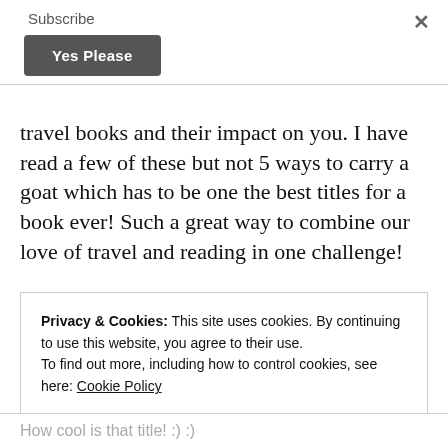Subscribe
Yes Please
travel books and their impact on you. I have read a few of these but not 5 ways to carry a goat which has to be one the best titles for a book ever! Such a great way to combine our love of travel and reading in one challenge!
Privacy & Cookies: This site uses cookies. By continuing to use this website, you agree to their use.
To find out more, including how to control cookies, see here: Cookie Policy
CLOSE AND ACCEPT
How cool is that title! :):)